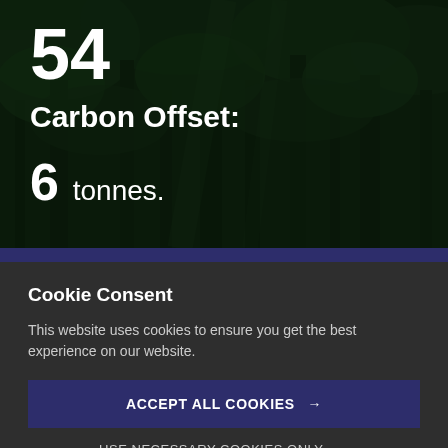[Figure (photo): Dark forest/jungle background with tall trees and dense green foliage, dimly lit]
54
Carbon Offset:
6 tonnes.
Cookie Consent
This website uses cookies to ensure you get the best experience on our website.
ACCEPT ALL COOKIES →
USE NECESSARY COOKIES ONLY →